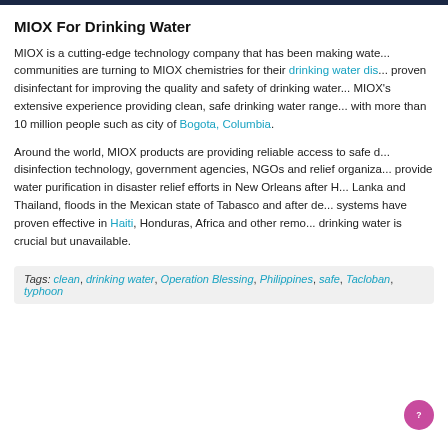MIOX For Drinking Water
MIOX is a cutting-edge technology company that has been making wate... communities are turning to MIOX chemistries for their drinking water dis... proven disinfectant for improving the quality and safety of drinking water... MIOX's extensive experience providing clean, safe drinking water range... with more than 10 million people such as city of Bogota, Columbia.
Around the world, MIOX products are providing reliable access to safe d... disinfection technology, government agencies, NGOs and relief organiza... provide water purification in disaster relief efforts in New Orleans after H... Lanka and Thailand, floods in the Mexican state of Tabasco and after de... systems have proven effective in Haiti, Honduras, Africa and other remo... drinking water is crucial but unavailable.
Tags: clean, drinking water, Operation Blessing, Philippines, safe, Tacloban, typhoon